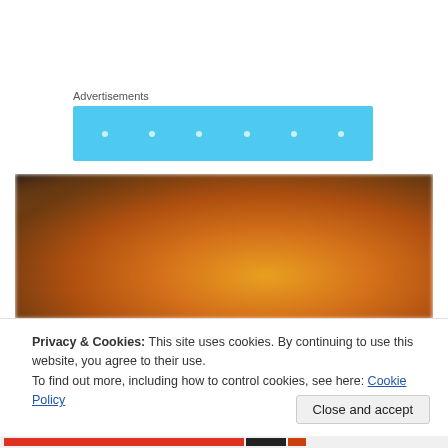Advertisements
[Figure (other): Light blue advertisement banner with white dots]
[Figure (photo): Blurry close-up photo of food (appears to be pizza or bread) on a dark background]
Privacy & Cookies: This site uses cookies. By continuing to use this website, you agree to their use.
To find out more, including how to control cookies, see here: Cookie Policy
Close and accept